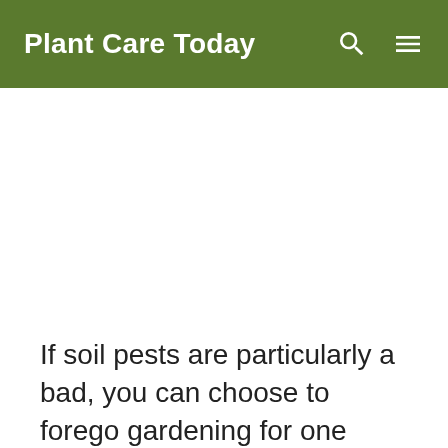Plant Care Today
If soil pests are particularly a bad, you can choose to forego gardening for one year and bake the soil to sterilize instead.